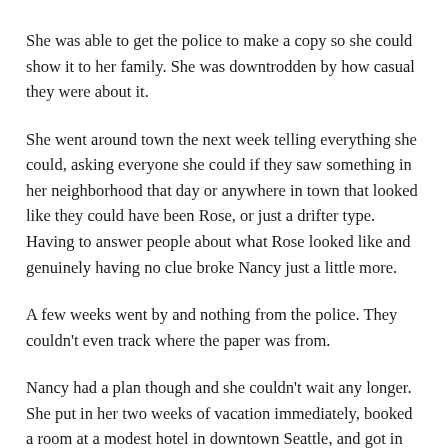She was able to get the police to make a copy so she could show it to her family. She was downtrodden by how casual they were about it.
She went around town the next week telling everything she could, asking everyone she could if they saw something in her neighborhood that day or anywhere in town that looked like they could have been Rose, or just a drifter type. Having to answer people about what Rose looked like and genuinely having no clue broke Nancy just a little more.
A few weeks went by and nothing from the police. They couldn’t even track where the paper was from.
Nancy had a plan though and she couldn’t wait any longer. She put in her two weeks of vacation immediately, booked a room at a modest hotel in downtown Seattle, and got in her little Toyota to drive five hours to where she could set up her own investigation.